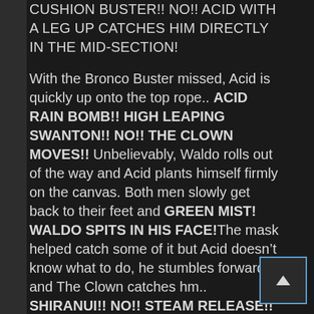CUSHION BUSTER!! NO!! ACID WITH A LEG UP CATCHES HIM DIRECTLY IN THE MID-SECTION!

With the Bronco Buster missed, Acid is quickly up onto the top rope.. ACID RAIN BOMB!! HIGH LEAPING SWANTON!! NO!! THE CLOWN MOVES!! Unbelievably, Waldo rolls out of the way and Acid plants himself firmly on the canvas. Both men slowly get back to their feet and GREEN MIST! WALDO SPITS IN HIS FACE!The mask helped catch some of it but Acid doesn't know what to do, he stumbles forwards and The Clown catches hm.. SHIRANUI!! NO!! STEAM RELEASE!! STEAM JUST CAME OUT OF ACID'S MASK AND NOW WALDO IS BLINDED! ACID WITH A ROLL UP… ONE…. TWO… THREE!! Out of no-where and in the most crazy of circumstances, Acid has put himself into the